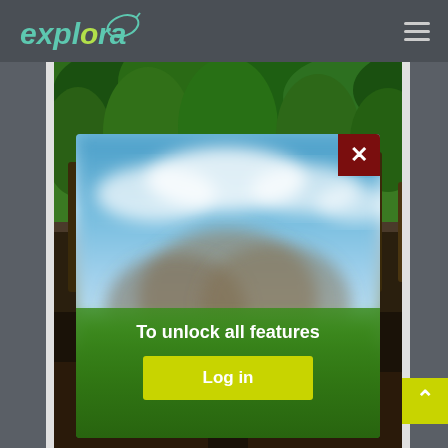explora
[Figure (screenshot): A nature/forest photo showing a path with logs piled up and tropical forest in the background, viewed through a mobile app layout with side panels]
[Figure (screenshot): A modal popup dialog with a blurred outdoor landscape background showing sky and green hills. Contains a dark red close (X) button in top-right corner, text 'To unlock all features', and a yellow-green 'Log in' button]
To unlock all features
Log in